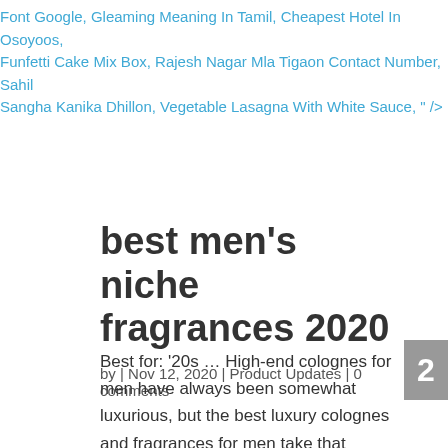Font Google, Gleaming Meaning In Tamil, Cheapest Hotel In Osoyoos, Funfetti Cake Mix Box, Rajesh Nagar Mla Tigaon Contact Number, Sahil Sangha Kanika Dhillon, Vegetable Lasagna With White Sauce, " />
best men's niche fragrances 2020
by | Nov 12, 2020 | Product Updates | 0 comments
Best for: '20s … High-end colognes for men have always been somewhat luxurious, but the best luxury colognes and fragrances for men take that concept to the next level. Creed are a Niche fragrance house and… These